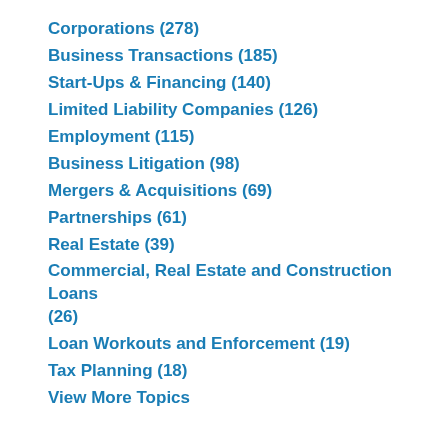Corporations (278)
Business Transactions (185)
Start-Ups & Financing (140)
Limited Liability Companies (126)
Employment (115)
Business Litigation (98)
Mergers & Acquisitions (69)
Partnerships (61)
Real Estate (39)
Commercial, Real Estate and Construction Loans (26)
Loan Workouts and Enforcement (19)
Tax Planning (18)
View More Topics